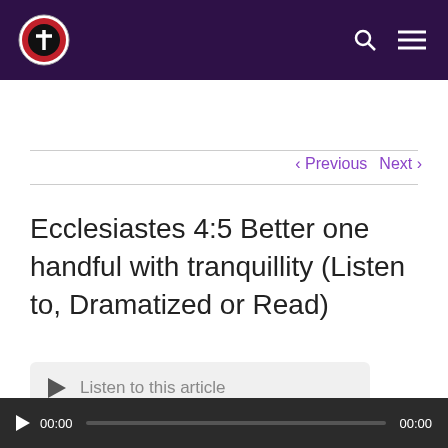[Figure (logo): Circular logo with cross icon and text 'JESUS IS COMING GET READY' on dark purple header background]
Navigation header with search and menu icons
< Previous   Next >
Ecclesiastes 4:5 Better one handful with tranquillity (Listen to, Dramatized or Read)
Listen to this article
00:00   00:00